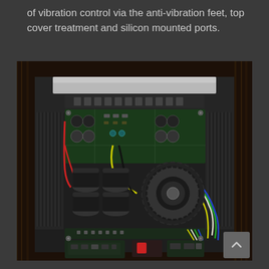of vibration control via the anti-vibration feet, top cover treatment and silicon mounted ports.
[Figure (photo): Top-down interior view of an audio amplifier showing circuit boards, large capacitors, a toroidal transformer, colorful wiring (red, yellow, black, white, green, blue), and various electronic components mounted in a black metal chassis on a dark wood surface.]